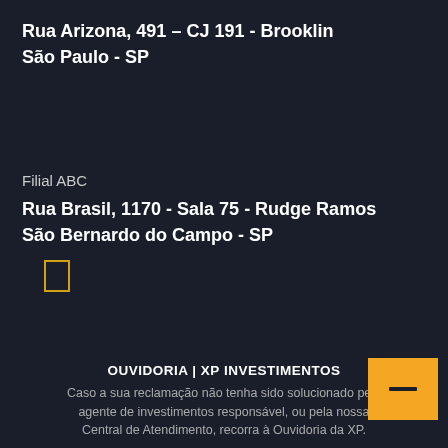Rua Arizona, 491 – CJ 191 - Brooklin
São Paulo - SP
[Figure (other): Small yellow outlined square icon]
Filial ABC
Rua Brasil, 1170 - Sala 75 - Rudge Ramos
São Bernardo do Campo - SP
OUVIDORIA | XP INVESTIMENTOS
Caso a sua reclamação não tenha sido solucionado pelo agente de investimentos responsável, ou pela nossa Central de Atendimento, recorra à Ouvidoria da XP.